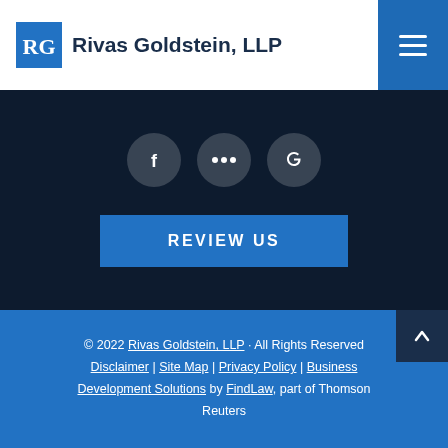Rivas Goldstein, LLP
[Figure (logo): Rivas Goldstein LLP logo with RG monogram in blue square and firm name in dark navy text]
[Figure (infographic): Social media icon circles (Facebook, share/more, Google) on dark navy background]
REVIEW US
© 2022 Rivas Goldstein, LLP · All Rights Reserved Disclaimer | Site Map | Privacy Policy | Business Development Solutions by FindLaw, part of Thomson Reuters